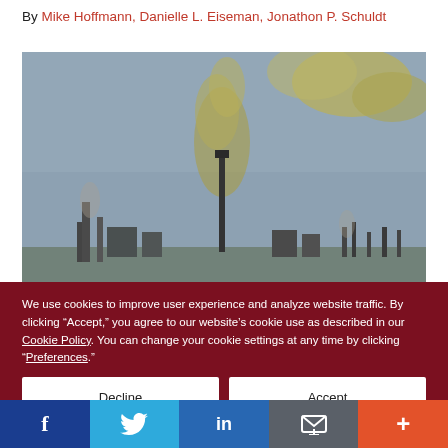By Mike Hoffmann, Danielle L. Eiseman, Jonathon P. Schuldt
[Figure (photo): Aerial or distant view of an industrial facility with smokestacks emitting yellowish-green smoke or steam against a grey-blue hazy sky. Multiple stacks and industrial structures visible.]
We use cookies to improve user experience and analyze website traffic. By clicking “Accept,” you agree to our website’s cookie use as described in our Cookie Policy. You can change your cookie settings at any time by clicking “Preferences.”
Decline
Accept
Preferences